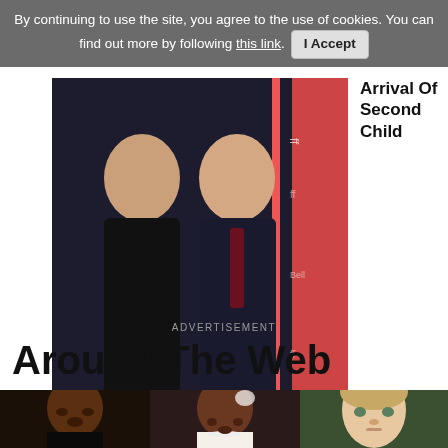By continuing to use the site, you agree to the use of cookies. You can find out more by following this link. I Accept
Arrival Of Second Child
[Figure (photo): A couple posing at what appears to be a film festival event, with a woman in black and a man in a dark suit with a burgundy tie. TIFF backdrop visible.]
ADVERTISEMENT
Around The Web
[Figure (photo): Three side-by-side photos: a Black man in a tuxedo, a Black woman in bridal attire with pearls, and a young boy with light brown hair.]